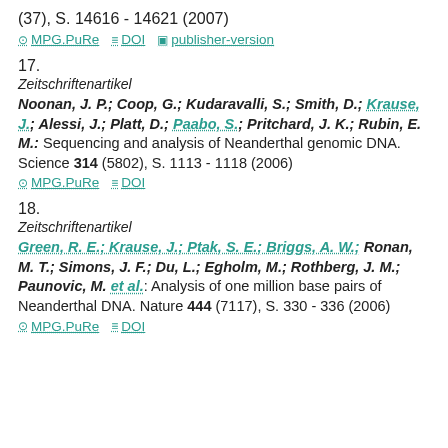(37), S. 14616 - 14621 (2007)
⊙ MPG.PuRe  ≡ DOI  ▣ publisher-version
17.
Zeitschriftenartikel
Noonan, J. P.; Coop, G.; Kudaravalli, S.; Smith, D.; Krause, J.; Alessi, J.; Platt, D.; Paabo, S.; Pritchard, J. K.; Rubin, E. M.: Sequencing and analysis of Neanderthal genomic DNA. Science 314 (5802), S. 1113 - 1118 (2006)
⊙ MPG.PuRe  ≡ DOI
18.
Zeitschriftenartikel
Green, R. E.; Krause, J.; Ptak, S. E.; Briggs, A. W.; Ronan, M. T.; Simons, J. F.; Du, L.; Egholm, M.; Rothberg, J. M.; Paunovic, M. et al.: Analysis of one million base pairs of Neanderthal DNA. Nature 444 (7117), S. 330 - 336 (2006)
⊙ MPG.PuRe  ≡ DOI